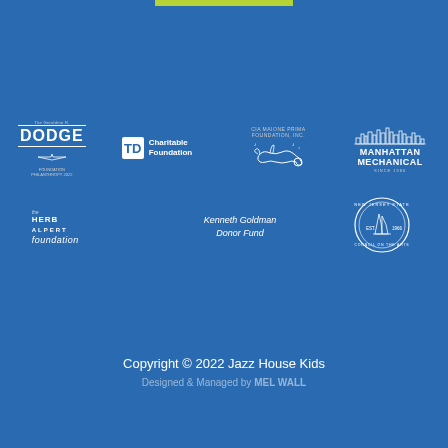[Figure (logo): Green accent bar at top]
[Figure (logo): Sponsor logos row 1: Geraldine R. Dodge Foundation, TD Charitable Foundation, CIA Maione Prima Foundation Inc., Manhattan Mechanical Since 1986]
[Figure (logo): Sponsor logos row 2: The Herb Alpert Foundation, Kenneth Goldman Donor Fund, New Jersey State Council on the Arts Est. 1966]
Copyright © 2022 Jazz House Kids
Designed & Managed by MEL WALL